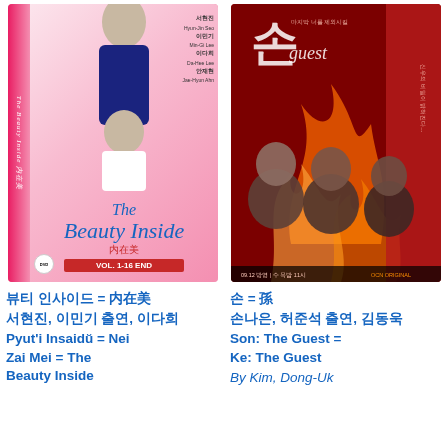[Figure (photo): DVD box cover of Korean drama 'The Beauty Inside' with pink background showing two actors, cast names listed on right side, script title and Chinese characters at bottom with VOL.1-16 END badge]
뷰티 인사이드 = 内在美
서현진, 이민기 출연, 이다희
Pyut'i Insaidŭ = Nei Zai Mei = The Beauty Inside
[Figure (photo): Movie/drama poster of Korean thriller 'Son: The Guest' with dark red/orange fiery background showing three male actors looking intense, Korean and English title text, broadcast information at bottom]
손 = 孫
손나은, 허준석 출연, 김동욱
Son: The Guest = Ke: The Guest
By Kim, Dong-Uk